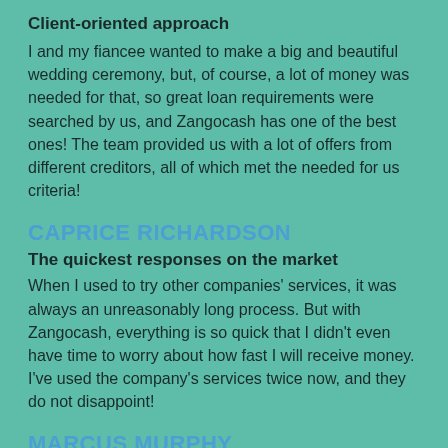Client-oriented approach
I and my fiancee wanted to make a big and beautiful wedding ceremony, but, of course, a lot of money was needed for that, so great loan requirements were searched by us, and Zangocash has one of the best ones! The team provided us with a lot of offers from different creditors, all of which met the needed for us criteria!
CAPRICE RICHARDSON
The quickest responses on the market
When I used to try other companies' services, it was always an unreasonably long process. But with Zangocash, everything is so quick that I didn't even have time to worry about how fast I will receive money. I've used the company's services twice now, and they do not disappoint!
MARCUS MURPHY
Great choice of loans